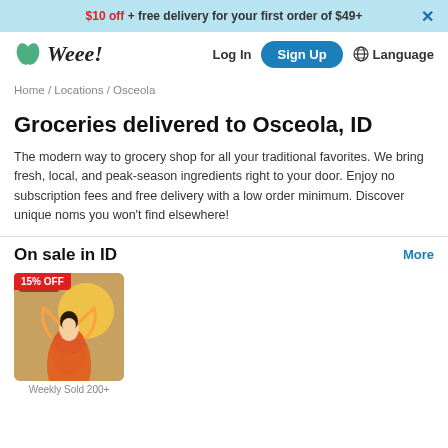$10 off + free delivery for your first order of $49+
[Figure (logo): Weee! grocery delivery service logo with green leaf icon]
Home / Locations / Osceola
Groceries delivered to Osceola, ID
The modern way to grocery shop for all your traditional favorites. We bring fresh, local, and peak-season ingredients right to your door. Enjoy no subscription fees and free delivery with a low order minimum. Discover unique noms you won't find elsewhere!
On sale in ID
[Figure (photo): Product image with 15% OFF badge, mooncake box with Chang'e illustration. Weekly Sold 200+]